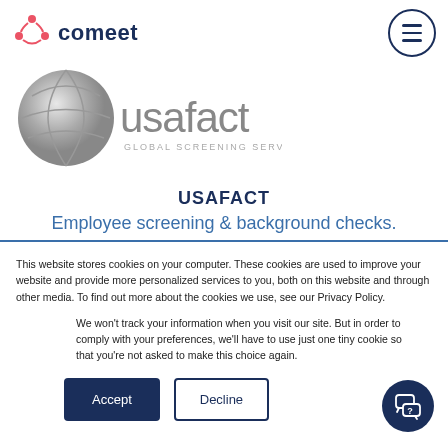[Figure (logo): Comeet logo: stylized red icon and dark blue 'comeet' text]
[Figure (logo): USAFact Global Screening Services logo with globe graphic and stylized text]
USAFACT
Employee screening & background checks.
This website stores cookies on your computer. These cookies are used to improve your website and provide more personalized services to you, both on this website and through other media. To find out more about the cookies we use, see our Privacy Policy.
We won't track your information when you visit our site. But in order to comply with your preferences, we'll have to use just one tiny cookie so that you're not asked to make this choice again.